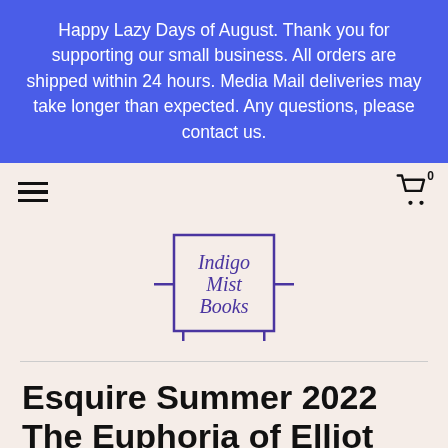Happy Lazy Days of August. Thank you for supporting our small business. All orders are shipped within 24 hours. Media Mail deliveries may take longer than expected. Any questions, please contact us.
[Figure (logo): Indigo Mist Books logo — a square with italic script text reading 'Indigo Mist Books', with horizontal lines extending from the left and right sides of the box, and small feet below, resembling a bookshelf or display stand. Purple/indigo color.]
Esquire Summer 2022 The Euphoria of Elliot Page (Magazine: Men's, General Interest)